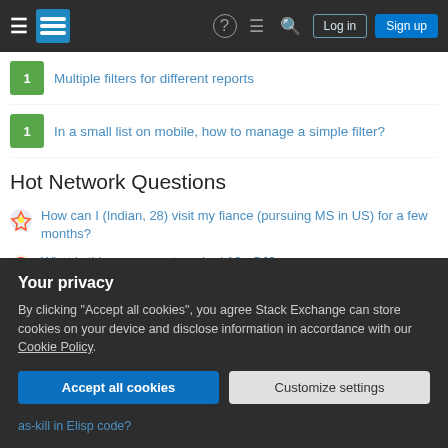Stack Exchange navigation bar with Log in and Sign up buttons
1  Multiple filters for different reports
1  In a small list on mobile, how to manage a simple filter?
Hot Network Questions
How can I (Indian, 28) visit my fiance (pursuing MS in US) for a few months?
What is this component marked 10mΩJ?
Which Lilypond engraver handles accent marks?
Why is pawn captures on e5 is a blunder in the King's Gambit?
What is the remaining goals on the shelf?
Your privacy
By clicking "Accept all cookies", you agree Stack Exchange can store cookies on your device and disclose information in accordance with our Cookie Policy.
Accept all cookies  Customize settings
as-kill in Elisp code?